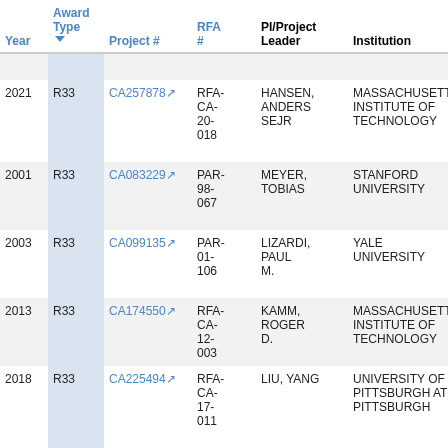| Year | Award Type | Project # | RFA # | PI/Project Leader | Institution | T |
| --- | --- | --- | --- | --- | --- | --- |
|  |  |  |  |  |  | dia |
| 2021 | R33 | CA257878 | RFA-CA-20-018 | HANSEN, ANDERS SEJR | MASSACHUSETTS INSTITUTE OF TECHNOLOGY | Su m a en in |
| 2001 | R33 | CA083229 | PAR-98-067 | MEYER, TOBIAS | STANFORD UNIVERSITY | CI SC TR PI |
| 2003 | R33 | CA099135 | PAR-01-106 | LIZARDI, PAUL M. | YALE UNIVERSITY | GI O G A |
| 2013 | R33 | CA174550 | RFA-CA-12-003 | KAMM, ROGER D. | MASSACHUSETTS INSTITUTE OF TECHNOLOGY | M A M |
| 2018 | R33 | CA225494 | RFA-CA-17-011 | LIU, YANG | UNIVERSITY OF PITTSBURGH AT PITTSBURGH | Hi re ch dif sta |
|  |  |  | RFA- |  | GENOME | PA TR |